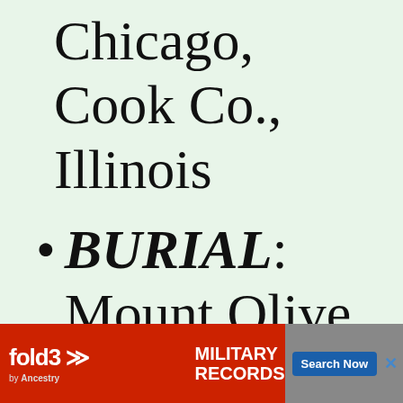Chicago, Cook Co., Illinois
BURIAL: Mount Olive Cemetery, Chicago, Cook Co.
[Figure (other): Advertisement banner for fold3 Military Records by Ancestry with Search Now button]